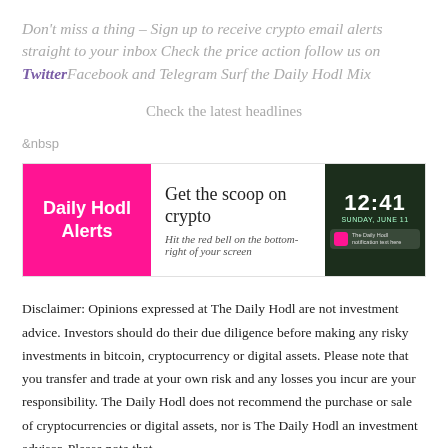Don't miss a thing – Sign up to receive crypto email alerts straight to your inbox Check the price action follow us on TwitterFacebook and Telegram Surf the Daily Hodl Mix
Check the latest headlines
&nbsp
[Figure (infographic): Daily Hodl Alerts banner ad. Left section: magenta/pink background with white bold text 'Daily Hodl Alerts'. Middle section: white background with serif text 'Get the scoop on crypto' and smaller italic text 'Hit the red bell on the bottom-right of your screen'. Right section: dark green background showing a phone lock screen with time 12:41, date text, and a notification from The Daily Hodl.]
Disclaimer: Opinions expressed at The Daily Hodl are not investment advice. Investors should do their due diligence before making any risky investments in bitcoin, cryptocurrency or digital assets. Please note that you transfer and trade at your own risk and any losses you incur are your responsibility. The Daily Hodl does not recommend the purchase or sale of cryptocurrencies or digital assets, nor is The Daily Hodl an investment advisor. Please note that